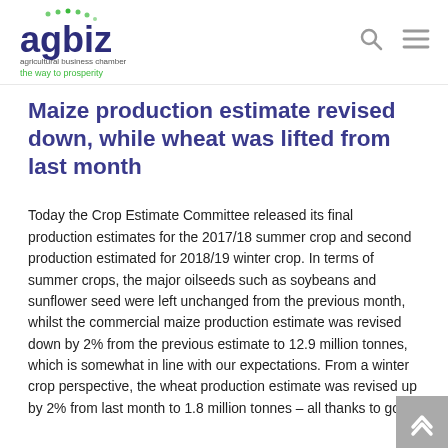agbiz agricultural business chamber – the way to prosperity
Maize production estimate revised down, while wheat was lifted from last month
Today the Crop Estimate Committee released its final production estimates for the 2017/18 summer crop and second production estimated for 2018/19 winter crop. In terms of summer crops, the major oilseeds such as soybeans and sunflower seed were left unchanged from the previous month, whilst the commercial maize production estimate was revised down by 2% from the previous estimate to 12.9 million tonnes, which is somewhat in line with our expectations. From a winter crop perspective, the wheat production estimate was revised up by 2% from last month to 1.8 million tonnes – all thanks to good